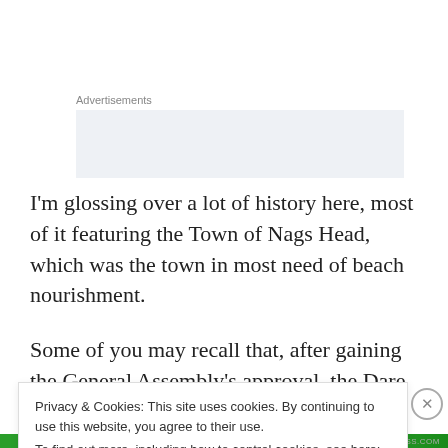Advertisements
I'm glossing over a lot of history here, most of it featuring the Town of Nags Head, which was the town in most need of beach nourishment.
Some of you may recall that, after gaining the General Assembly's approval, the Dare County Board of
Privacy & Cookies: This site uses cookies. By continuing to use this website, you agree to their use.
To find out more, including how to control cookies, see here: Cookie Policy
Close and accept